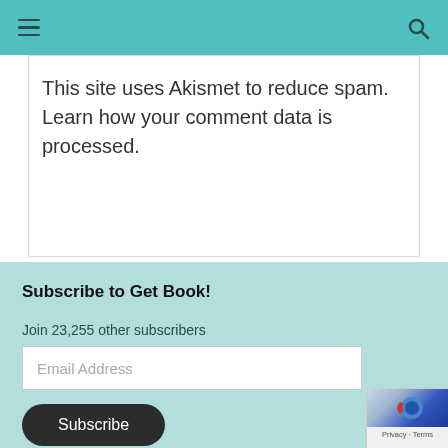Navigation bar with hamburger menu and search icon
This site uses Akismet to reduce spam. Learn how your comment data is processed.
Subscribe to Get Book!
Join 23,255 other subscribers
Email Address
Subscribe